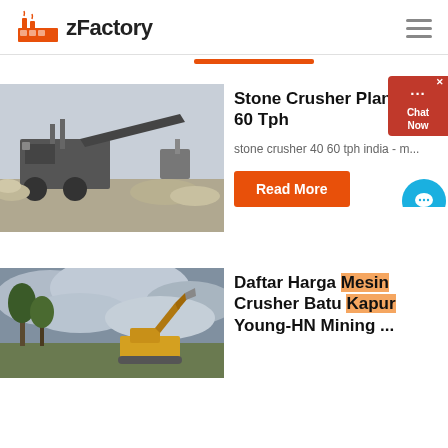zFactory
[Figure (illustration): Orange bar/navigation underline indicator centered in header area]
[Figure (photo): Stone crusher plant machinery at a quarry site, industrial equipment with conveyor belts and piles of crushed stone]
Stone Crusher Plan... 40 60 Tph
stone crusher 40 60 tph india - m...
Read More
[Figure (photo): Construction or mining site with excavator machinery and trees against a cloudy sky]
Daftar Harga Mesin Crusher Batu Kapur Young-HN Mining ...